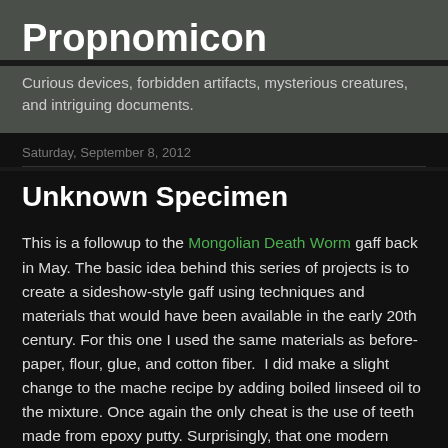Propnomicon
Curious devices, forbidden artifacts, mysterious creatures, and intriguing documents.
Saturday, September 8, 2012
Unknown Specimen
This is a followup to the Mongolian Death Worm gaff back in May. The basic idea behind this series of projects is to create a sideshow-style gaff using techniques and materials that would have been available in the early 20th century. For this one I used the same materials as before- paper, flour, glue, and cotton fiber.  I did make a slight change to the mache recipe by adding boiled linseed oil to the mixture. Once again the only cheat is the use of teeth made from epoxy putty. Surprisingly, that one modern material turned out to be a drawback, but we'll get to that in a bit.